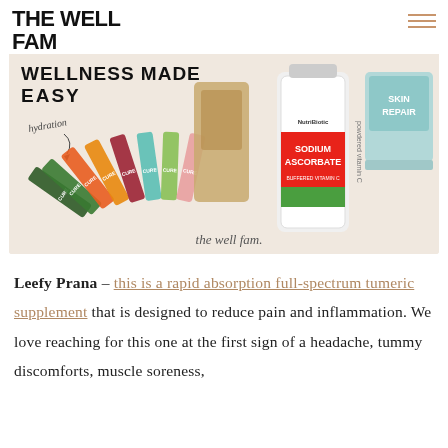THE WELL FAM
[Figure (photo): Blog banner image showing wellness products: colorful LMNT/CURE hydration packets fanned out, a NutriBiotic Sodium Ascorbate powdered Vitamin C jar, and a Skin Repair container, on a beige background with 'WELLNESS MADE EASY' and 'the well fam.' text overlay]
Leefy Prana – this is a rapid absorption full-spectrum tumeric supplement that is designed to reduce pain and inflammation. We love reaching for this one at the first sign of a headache, tummy discomforts, muscle soreness,